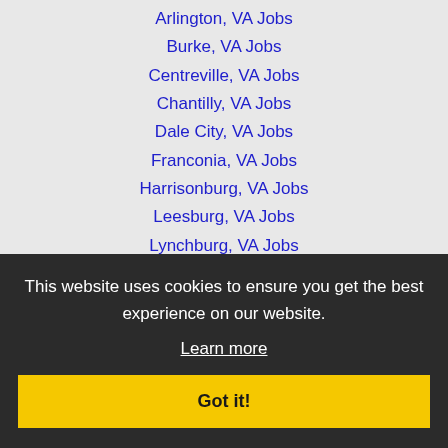Arlington, VA Jobs
Burke, VA Jobs
Centreville, VA Jobs
Chantilly, VA Jobs
Dale City, VA Jobs
Franconia, VA Jobs
Harrisonburg, VA Jobs
Leesburg, VA Jobs
Lynchburg, VA Jobs
Potomac, MD Jobs
Reston, VA Jobs
Richmond, VA Jobs
Roanoke, VA Jobs
Sterling, VA Jobs
Tuckahoe, VA Jobs
Washington DC Jobs
This website uses cookies to ensure you get the best experience on our website.
Learn more
Got it!